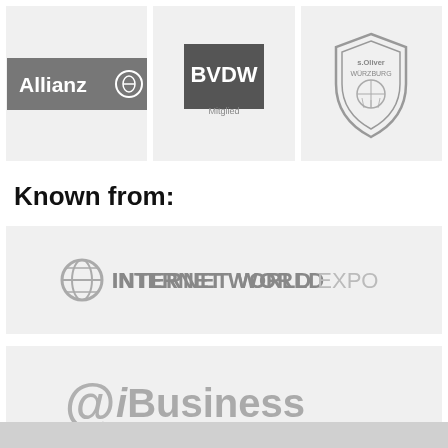[Figure (logo): Three logo boxes in a row: Allianz logo (dark grey background, white text), BVDW Mitglied logo (dark grey square with white text), s.Oliver Würzburg basketball club logo (grey shield emblem)]
Known from:
[Figure (logo): Internet World Expo logo on light grey background — grey icon and text 'INTERNET WORLD EXPO']
[Figure (logo): iBusiness logo on light grey background — '@iBusiness' with tagline 'Zukunftsforschung für interaktives Business']